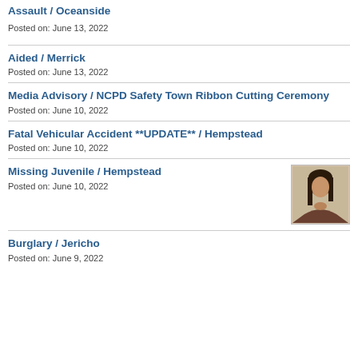Assault / Oceanside
Posted on: June 13, 2022
Aided / Merrick
Posted on: June 13, 2022
Media Advisory / NCPD Safety Town Ribbon Cutting Ceremony
Posted on: June 10, 2022
Fatal Vehicular Accident **UPDATE** / Hempstead
Posted on: June 10, 2022
Missing Juvenile / Hempstead
Posted on: June 10, 2022
[Figure (photo): Photo of missing juvenile, a young woman with long dark hair]
Burglary / Jericho
Posted on: June 9, 2022